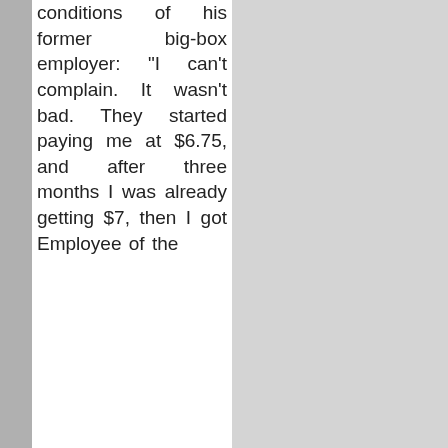conditions of his former big-box employer: "I can't complain. It wasn't bad. They started paying me at $6.75, and after three months I was already getting $7, then I got Employee of the